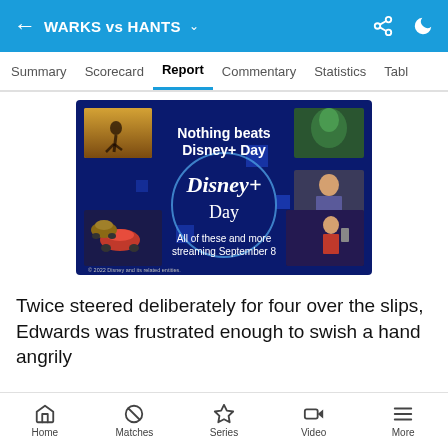WARKS vs HANTS
Summary  Scorecard  Report  Commentary  Statistics  Table
[Figure (photo): Disney+ Day advertisement banner. Dark navy blue background with text 'Nothing beats Disney+ Day' and 'Disney+ Day' logo in center. 'All of these and more streaming September 8' text at bottom. Movie/show thumbnails on sides including Cars characters and Thor. Copyright notice: © 2022 Disney and its related entities.]
Twice steered deliberately for four over the slips, Edwards was frustrated enough to swish a hand angrily
Home  Matches  Series  Video  More